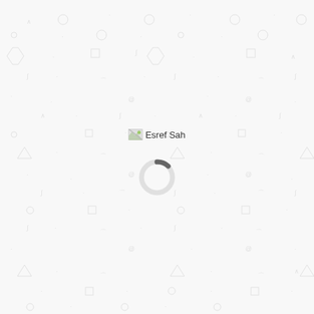[Figure (other): Loading screen with a decorative watermark pattern of faint gray geometric shapes (circles, squares, triangles, brackets, at-signs) tiled across the background. In the upper-center area there is a broken image placeholder labeled 'Esref Sah'. Below it is a loading spinner (donut-style circle with a dark gray arc segment indicating loading progress).]